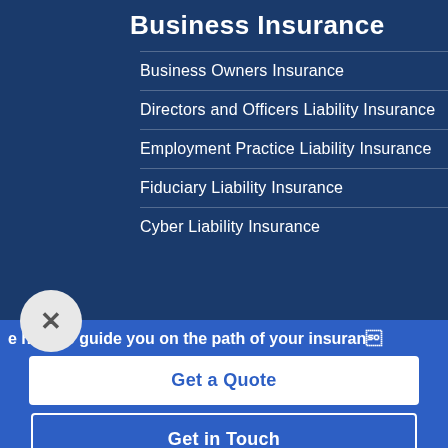Business Insurance
Business Owners Insurance
Directors and Officers Liability Insurance
Employment Practice Liability Insurance
Fiduciary Liability Insurance
Cyber Liability Insurance
e here to guide you on the path of your insurance
Get a Quote
Get in Touch